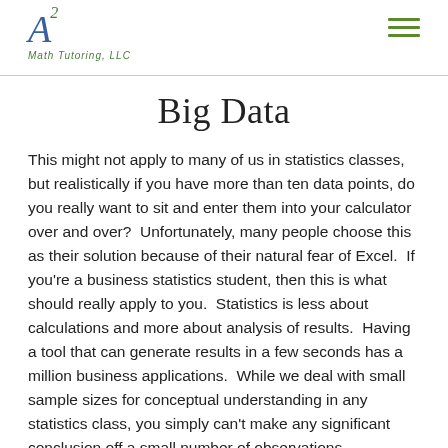A² Math Tutoring, LLC
Big Data
This might not apply to many of us in statistics classes, but realistically if you have more than ten data points, do you really want to sit and enter them into your calculator over and over?  Unfortunately, many people choose this as their solution because of their natural fear of Excel.  If you're a business statistics student, then this is what should really apply to you.  Statistics is less about calculations and more about analysis of results.  Having a tool that can generate results in a few seconds has a million business applications.  While we deal with small sample sizes for conceptual understanding in any statistics class, you simply can't make any significant conclusion off a small number of observations.  Mastering Excel allows you to really look at